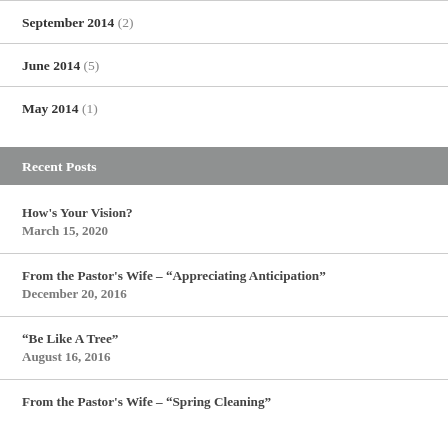September 2014 (2)
June 2014 (5)
May 2014 (1)
Recent Posts
How's Your Vision?
March 15, 2020
From the Pastor's Wife – “Appreciating Anticipation”
December 20, 2016
“Be Like A Tree”
August 16, 2016
From the Pastor's Wife – “Spring Cleaning”